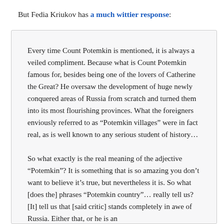But Fedia Kriukov has a much wittier response:
Every time Count Potemkin is mentioned, it is always a veiled compliment. Because what is Count Potemkin famous for, besides being one of the lovers of Catherine the Great? He oversaw the development of huge newly conquered areas of Russia from scratch and turned them into its most flourishing provinces. What the foreigners enviously referred to as “Potemkin villages” were in fact real, as is well known to any serious student of history…
So what exactly is the real meaning of the adjective “Potemkin”? It is something that is so amazing you don’t want to believe it’s true, but nevertheless it is. So what [does the] phrases “Potemkin country”… really tell us? [It] tell us that [said critic] stands completely in awe of Russia. Either that, or he is an